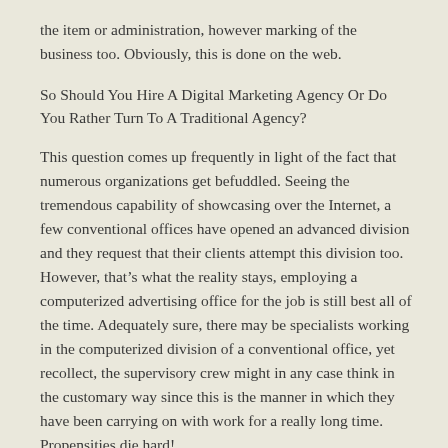the item or administration, however marking of the business too. Obviously, this is done on the web.
So Should You Hire A Digital Marketing Agency Or Do You Rather Turn To A Traditional Agency?
This question comes up frequently in light of the fact that numerous organizations get befuddled. Seeing the tremendous capability of showcasing over the Internet, a few conventional offices have opened an advanced division and they request that their clients attempt this division too. However, that’s what the reality stays, employing a computerized advertising office for the job is still best all of the time. Adequately sure, there may be specialists working in the computerized division of a conventional office, yet recollect, the supervisory crew might in any case think in the customary way since this is the manner in which they have been carrying on with work for a really long time. Propensities die hard!
An enormous business might choose to do everything in-house. In any case, this can be a ton of work. All things being equal, on the off chance that a computerized showcasing organization is recruited,